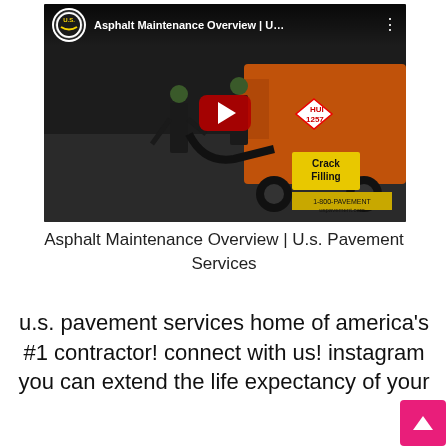[Figure (screenshot): YouTube video thumbnail showing workers using asphalt crack filling equipment next to an orange truck. Title reads 'Asphalt Maintenance Overview | U...' with U.S. Pavement Services logo. Red play button in center. Label 'Crack Filling' and '1-800-PAVEMENT uspavement.com' visible in corner.]
Asphalt Maintenance Overview | U.s. Pavement Services
u.s. pavement services home of america's #1 contractor! connect with us! instagram you can extend the life expectancy of your